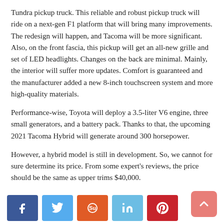Tundra pickup truck. This reliable and robust pickup truck will ride on a next-gen F1 platform that will bring many improvements. The redesign will happen, and Tacoma will be more significant. Also, on the front fascia, this pickup will get an all-new grille and set of LED headlights. Changes on the back are minimal. Mainly, the interior will suffer more updates. Comfort is guaranteed and the manufacturer added a new 8-inch touchscreen system and more high-quality materials.
Performance-wise, Toyota will deploy a 3.5-liter V6 engine, three small generators, and a battery pack. Thanks to that, the upcoming 2021 Tacoma Hybrid will generate around 300 horsepower.
However, a hybrid model is still in development. So, we cannot for sure determine its price. From some expert's reviews, the price should be the same as upper trims $40,000.
To check out the closest rivals of 2021 Toyota Tacoma click – HERE
Social share buttons: Facebook, Twitter, StumbleUpon, LinkedIn, Pinterest